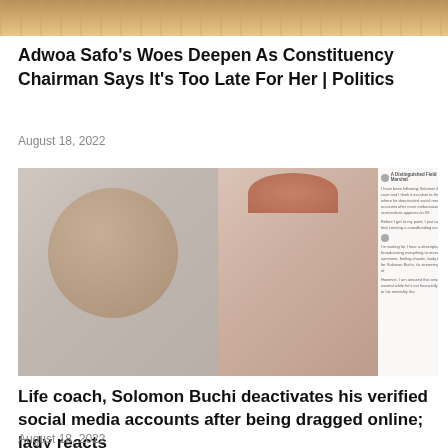[Figure (photo): Cropped top portion of a news article photo, showing an orange/warm-toned scene, partially cut off at top of page]
Adwoa Safo's Woes Deepen As Constituency Chairman Says It's Too Late For Her | Politics
August 18, 2022
[Figure (photo): Composite image showing two people (faces/portraits) on left side with a faded appearance, and on the right a screenshot of a social media post from 'A Distinguished Field Marshal' discussing Solomon Buchi's case and a crowdfunding account]
Life coach, Solomon Buchi deactivates his verified social media accounts after being dragged online; lady reacts
August 18, 2022